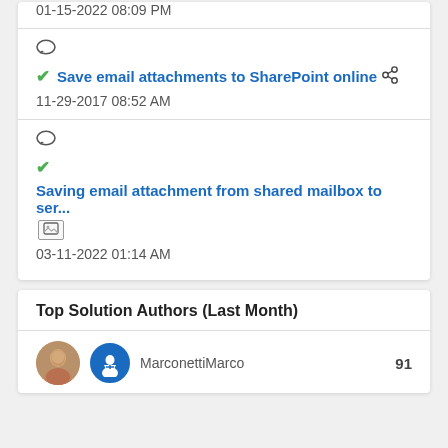01-15-2022 08:09 PM
Save email attachments to SharePoint online — 11-29-2017 08:52 AM
Saving email attachment from shared mailbox to ser... — 03-11-2022 01:14 AM
Top Solution Authors (Last Month)
MarconnettiMarco  91